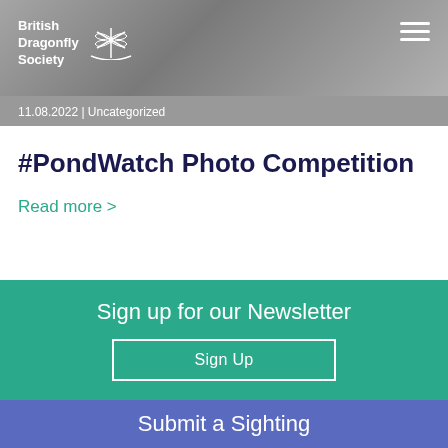[Figure (photo): Grayscale header photo of nature/dragonfly scene with British Dragonfly Society logo overlay and hamburger menu icon]
11.08.2022 | Uncategorized
#PondWatch Photo Competition
Read more >
Sign up for our Newsletter
Sign Up
Submit a Sighting